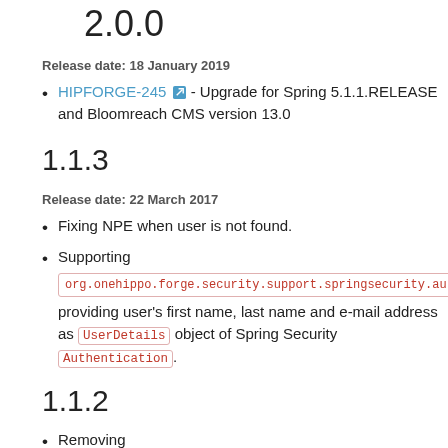2.0.0
Release date: 18 January 2019
HIPFORGE-245 - Upgrade for Spring 5.1.1.RELEASE and Bloomreach CMS version 13.0
1.1.3
Release date: 22 March 2017
Fixing NPE when user is not found.
Supporting org.onehippo.forge.security.support.springsecurity.au providing user's first name, last name and e-mail address as UserDetails object of Spring Security Authentication.
1.1.2
Removing